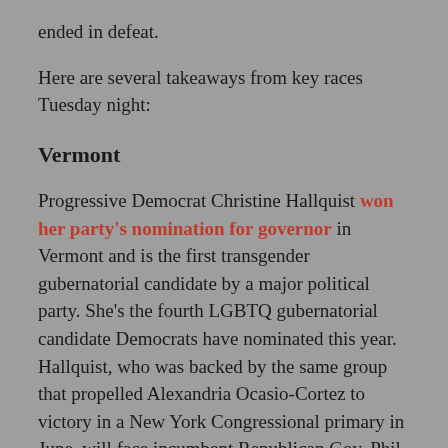ended in defeat.
Here are several takeaways from key races Tuesday night:
Vermont
Progressive Democrat Christine Hallquist won her party's nomination for governor in Vermont and is the first transgender gubernatorial candidate by a major political party. She's the fourth LGBTQ gubernatorial candidate Democrats have nominated this year. Hallquist, who was backed by the same group that propelled Alexandria Ocasio-Cortez to victory in a New York Congressional primary in June, will face incumbent Republican Gov. Phil Scott